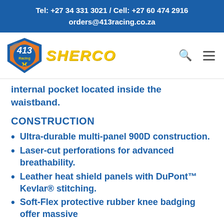Tel: +27 34 331 3021 / Cell: +27 60 474 2916
orders@413racing.co.za
[Figure (logo): 413 Racing motorcycle store logo with rider graphic and shield design, alongside SHERCO brand name in yellow italic text. Navigation search and menu icons visible.]
internal pocket located inside the waistband.
CONSTRUCTION
Ultra-durable multi-panel 900D construction.
Laser-cut perforations for advanced breathability.
Leather heat shield panels with DuPont™ Kevlar® stitching.
Soft-Flex protective rubber knee badging offer massive